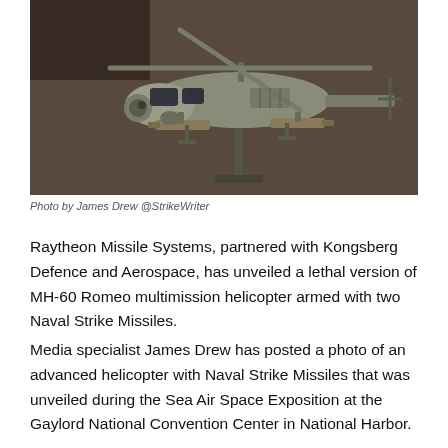[Figure (photo): A model or scale replica of an MH-60 Romeo multimission helicopter with Naval Strike Missiles mounted on its sides, displayed against a dark background.]
Photo by James Drew @StrikeWriter
Raytheon Missile Systems, partnered with Kongsberg Defence and Aerospace, has unveiled a lethal version of MH-60 Romeo multimission helicopter armed with two Naval Strike Missiles.
Media specialist James Drew has posted a photo of an advanced helicopter with Naval Strike Missiles that was unveiled during the Sea Air Space Exposition at the Gaylord National Convention Center in National Harbor.